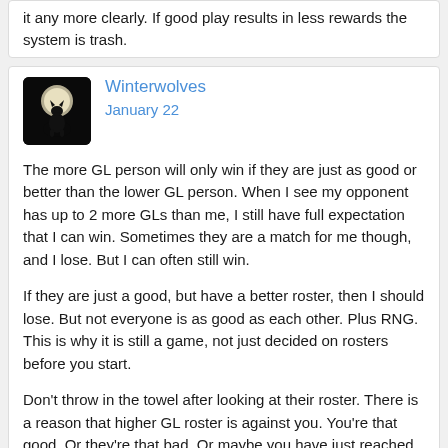it any more clearly. If good play results in less rewards the system is trash.
Winterwolves
January 22
The more GL person will only win if they are just as good or better than the lower GL person. When I see my opponent has up to 2 more GLs than me, I still have full expectation that I can win. Sometimes they are a match for me though, and I lose. But I can often still win.
If they are just a good, but have a better roster, then I should lose. But not everyone is as good as each other. Plus RNG. This is why it is still a game, not just decided on rosters before you start.
Don't throw in the towel after looking at their roster. There is a reason that higher GL roster is against you. You're that good. Or they're that bad. Or maybe you have just reached your ceiling. Still worth trying though.